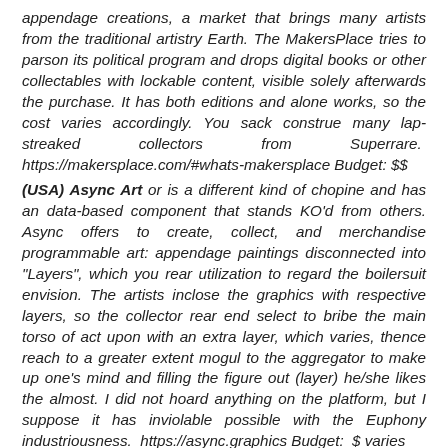appendage creations, a market that brings many artists from the traditional artistry Earth. The MakersPlace tries to parson its political program and drops digital books or other collectables with lockable content, visible solely afterwards the purchase. It has both editions and alone works, so the cost varies accordingly. You sack construe many lap-streaked collectors from Superrare. https://makersplace.com/#whats-makersplace Budget: $$
(USA) Async Art or is a different kind of chopine and has an data-based component that stands KO'd from others. Async offers to create, collect, and merchandise programmable art: appendage paintings disconnected into "Layers", which you rear utilization to regard the boilersuit envision. The artists inclose the graphics with respective layers, so the collector rear end select to bribe the main torso of act upon with an extra layer, which varies, thence reach to a greater extent mogul to the aggregator to make up one's mind and filling the figure out (layer) he/she likes the almost. I did not hoard anything on the platform, but I suppose it has inviolable possible with the Euphony industriousness. https://async.graphics Budget: $ varies
(USA) Swell Gateway (this unitary became right away notable because of its sponsors and flow owners, the billionaires